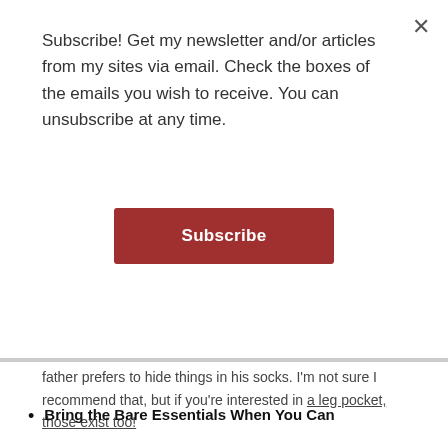Subscribe! Get my newsletter and/or articles from my sites via email. Check the boxes of the emails you wish to receive. You can unsubscribe at any time.
[Figure (other): Red Subscribe button]
father prefers to hide things in his socks. I'm not sure I recommend that, but if you're interested in a leg pocket, those exist too!
Bring the Bare Essentials When You Can
If you have a good base location such as a hotel or a friend's house, why not lighten up what you're carrying with you when going shopping, walking in crowded markets or areas? Some reputable hotels also offer safe services for valuables.
USING PUBLIC TRANSPORTATION – STAY BALANCED